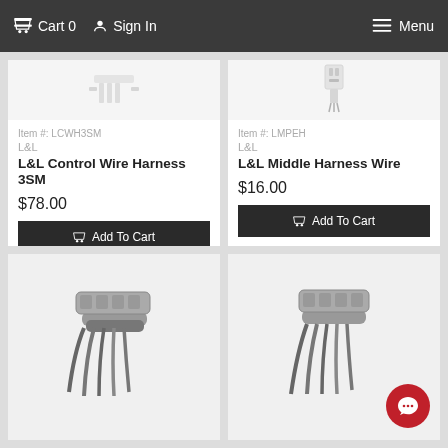Cart 0  Sign In  Menu
Item #: LCWH3SM
L&L
L&L Control Wire Harness 3SM
$78.00
Add To Cart
Item #: LMPEH
L&L
L&L Middle Harness Wire
$16.00
Add To Cart
[Figure (photo): Partial product image - wire harness connector, bottom left card, cropped]
[Figure (photo): Partial product image - wire harness, bottom right card with red chat bubble overlay, cropped]